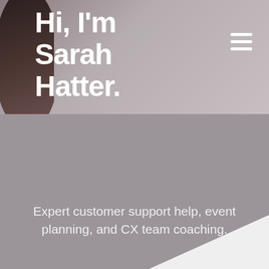[Figure (photo): Header photo of a person (Sarah Hatter) with blurred background wall texture, pinkish-gray tones]
Hi, I'm Sarah Hatter.
#USERCONF RECAP
Expert customer support help, event planning, and CX team coaching.